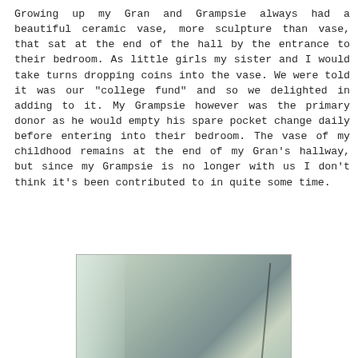Growing up my Gran and Grampsie always had a beautiful ceramic vase, more sculpture than vase, that sat at the end of the hall by the entrance to their bedroom. As little girls my sister and I would take turns dropping coins into the vase. We were told it was our "college fund" and so we delighted in adding to it. My Grampsie however was the primary donor as he would empty his spare pocket change daily before entering into their bedroom. The vase of my childhood remains at the end of my Gran's hallway, but since my Grampsie is no longer with us I don't think it's been contributed to in quite some time.
[Figure (photo): A partial photo of what appears to be a ceramic vase, shown in muted greenish-gray tones, partially cropped at the bottom of the page.]